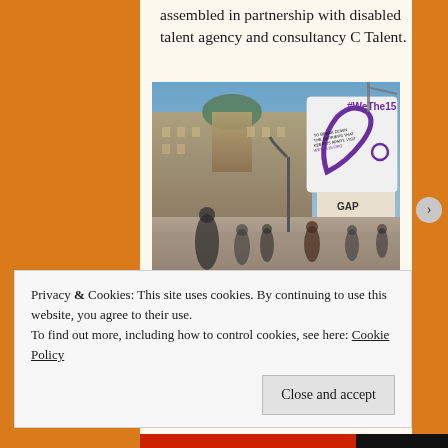assembled in partnership with disabled talent agency and consultancy C Talent.
[Figure (photo): Piccadilly Circus at dusk with a large digital billboard displaying the #WeThe15 campaign logo and text about breaking down barriers, with crowds of people and classic London architecture in the background.]
Pentagram's identity includes a wordmark
Privacy & Cookies: This site uses cookies. By continuing to use this website, you agree to their use.
To find out more, including how to control cookies, see here: Cookie Policy